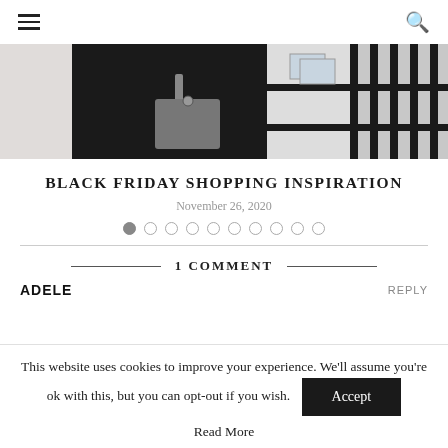≡  🔍
[Figure (photo): Partial view of a person in black outfit carrying a gray leather handbag, near black metal railings outdoors.]
BLACK FRIDAY SHOPPING INSPIRATION
November 26, 2020
Image slideshow navigation dots (10 dots, first one active)
1 COMMENT
ADELE
REPLY
This website uses cookies to improve your experience. We'll assume you're ok with this, but you can opt-out if you wish.
Accept
Read More